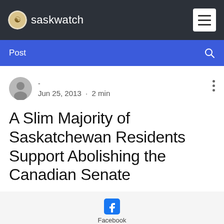saskwatch
Post
- Jun 25, 2013 · 2 min
A Slim Majority of Saskatchewan Residents Support Abolishing the Canadian Senate
[Figure (logo): Facebook logo with label 'Facebook']